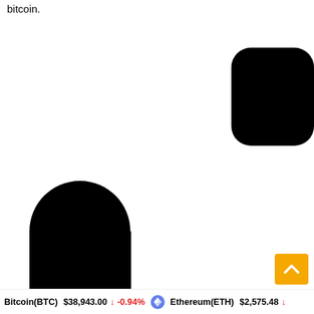bitcoin.
[Figure (logo): Partial view of a large stylized logo/wordmark with rounded black shapes on white background, showing partial letters]
Bitcoin(BTC) $38,943.00 ↓ -0.94%  Ethereum(ETH) $2,575.48 ↓